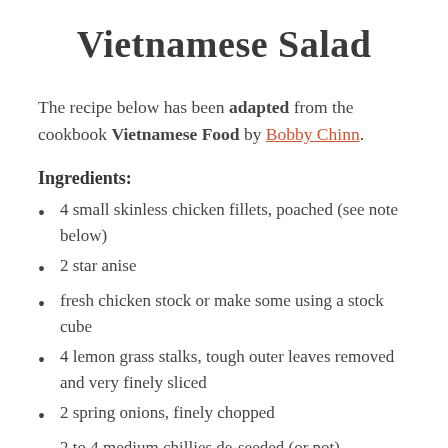Vietnamese Salad
The recipe below has been adapted from the cookbook Vietnamese Food by Bobby Chinn.
Ingredients:
4 small skinless chicken fillets, poached (see note below)
2 star anise
fresh chicken stock or make some using a stock cube
4 lemon grass stalks, tough outer leaves removed and very finely sliced
2 spring onions, finely chopped
2 to 4 medium chillies de-seeded (or not),